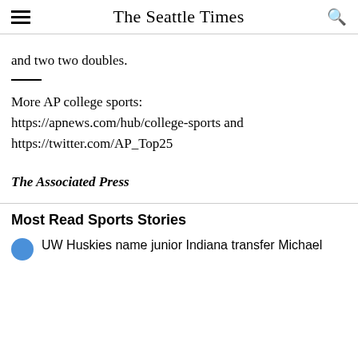The Seattle Times
and two two doubles.
More AP college sports: https://apnews.com/hub/college-sports and https://twitter.com/AP_Top25
The Associated Press
Most Read Sports Stories
UW Huskies name junior Indiana transfer Michael